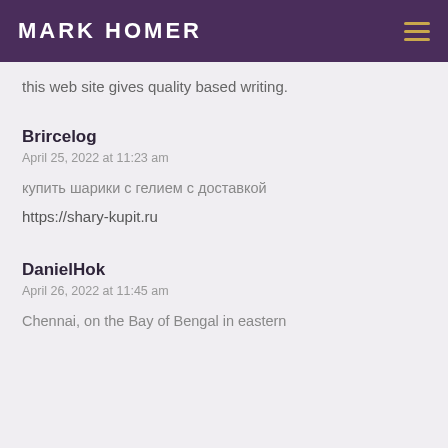MARK HOMER
this web site gives quality based writing.
Brircelog
April 25, 2022 at 11:23 am
купить шарики с гелием с доставкой
https://shary-kupit.ru
DanielHok
April 26, 2022 at 11:45 am
Chennai, on the Bay of Bengal in eastern